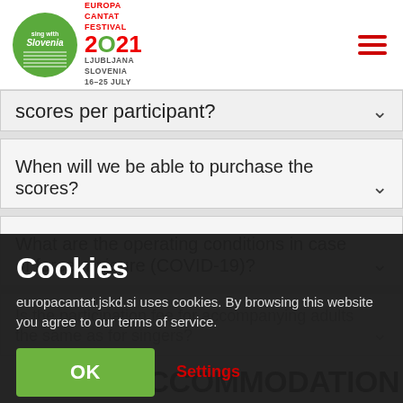[Figure (logo): Europa Cantat Festival 2021 Sing with Slovenia logo with green circle and musical notes, Ljubljana Slovenia 16-25 July text]
scores per participant?
When will we be able to purchase the scores?
What are the operating conditions in case of force majeure (COVID-19)?
Is the participation fee for accompanying adults the same as for singers?
Cookies
europacantat.jskd.si uses cookies. By browsing this website you agree to our terms of service.
OK
Settings
ACCOMMODATION